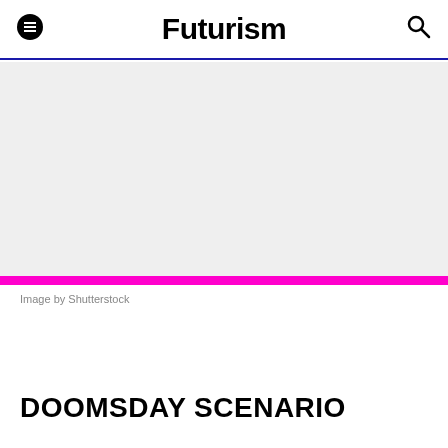Futurism
[Figure (photo): Large image area with white/light gray background placeholder, topped by a magenta/hot-pink horizontal bar at its bottom edge]
Image by Shutterstock
DOOMSDAY SCENARIO